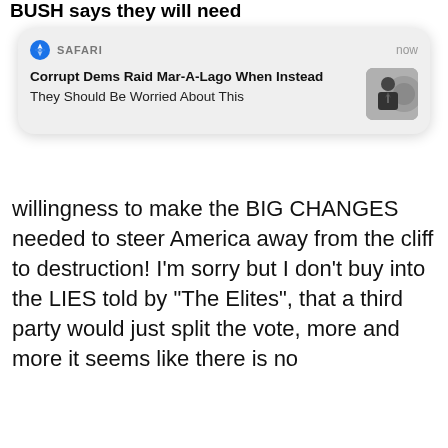BUSH says they will need
[Figure (screenshot): Safari browser push notification card on iOS with title 'Corrupt Dems Raid Mar-A-Lago When Instead They Should Be Worried About This', timestamp 'now', and a thumbnail of a man in a suit]
willingness to make the BIG CHANGES needed to steer America away from the cliff to destruction! I'm sorry but I don't buy into the LIES told by "The Elites", that a third party would just split the vote, more and more it seems like there is no
see more
^ | v